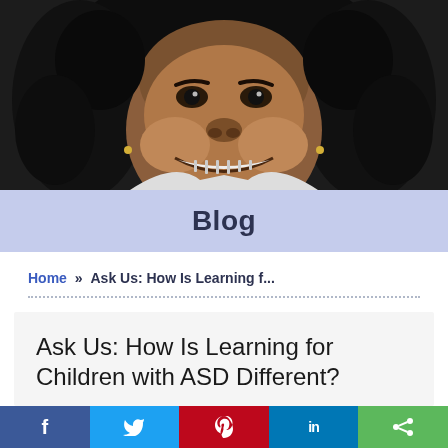[Figure (photo): Close-up photo of a young smiling girl with curly hair wearing a white shirt, dark background]
Blog
Home » Ask Us: How Is Learning f...
Ask Us: How Is Learning for Children with ASD Different?